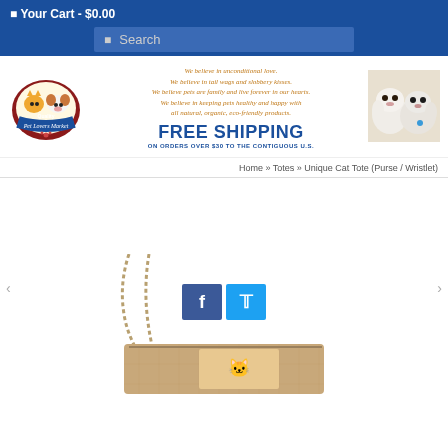Your Cart - $0.00
Search
[Figure (logo): Quality Pet Lovers Market circular logo with cat and dog]
We believe in unconditional love.
We believe in tail wags and slobbery kisses.
We believe pets are family and live forever in our hearts.
We believe in keeping pets healthy and happy with all natural, organic, eco-friendly products.
FREE SHIPPING
ON ORDERS OVER $30 TO THE CONTIGUOUS U.S.
[Figure (photo): Two white Shih Tzu dogs close-up photo]
Home » Totes » Unique Cat Tote (Purse / Wristlet)
[Figure (photo): Unique Cat Tote purse/wristlet product image with chain strap, partially visible with Facebook and Twitter social sharing buttons overlay]